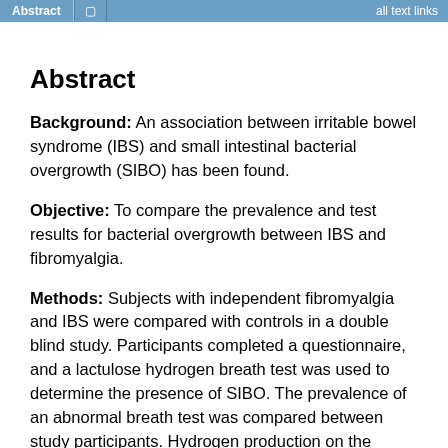Abstract | all text links
Abstract
Background: An association between irritable bowel syndrome (IBS) and small intestinal bacterial overgrowth (SIBO) has been found.
Objective: To compare the prevalence and test results for bacterial overgrowth between IBS and fibromyalgia.
Methods: Subjects with independent fibromyalgia and IBS were compared with controls in a double blind study. Participants completed a questionnaire, and a lactulose hydrogen breath test was used to determine the presence of SIBO. The prevalence of an abnormal breath test was compared between study participants. Hydrogen production on the breath test was compared between subjects with IBS and fibromyalgia. The somatic pain visual analogue score of subjects with fibromyalgia was